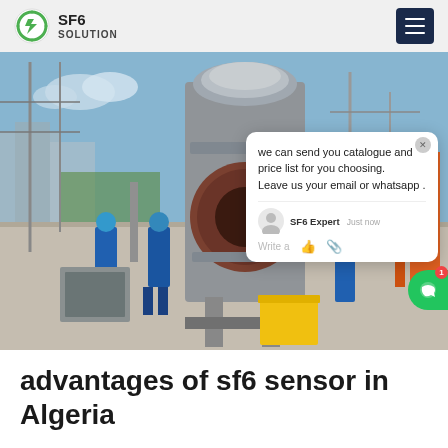SF6 SOLUTION
[Figure (photo): Industrial electrical substation with workers in blue coveralls and hard hats working near large SF6 gas insulated switchgear equipment. A live chat popup overlay is visible with message: 'we can send you catalogue and price list for you choosing. Leave us your email or whatsapp .' with SF6 Expert agent shown.]
advantages of sf6 sensor in Algeria